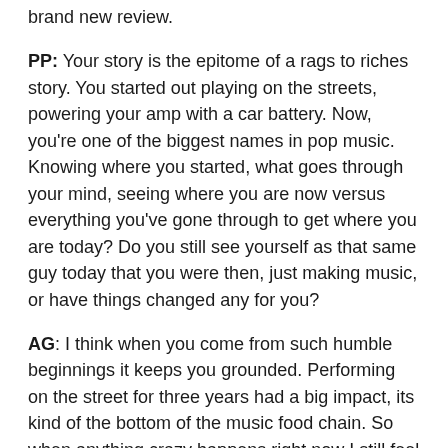brand new review.
PP: Your story is the epitome of a rags to riches story. You started out playing on the streets, powering your amp with a car battery. Now, you're one of the biggest names in pop music. Knowing where you started, what goes through your mind, seeing where you are now versus everything you've gone through to get where you are today? Do you still see yourself as that same guy today that you were then, just making music, or have things changed any for you?
AG: I think when you come from such humble beginnings it keeps you grounded. Performing on the street for three years had a big impact, its kind of the bottom of the music food chain. So when anything crazy happens right now I still feel like the guy from the street who is really blessed.